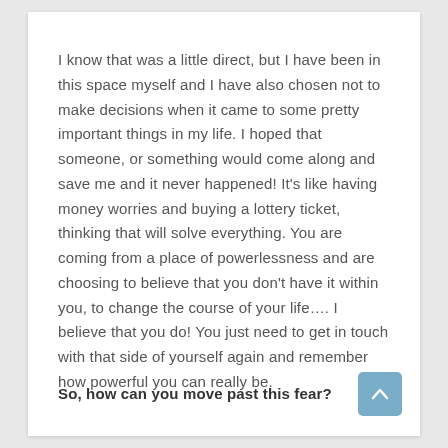I know that was a little direct, but I have been in this space myself and I have also chosen not to make decisions when it came to some pretty important things in my life. I hoped that someone, or something would come along and save me and it never happened! It's like having money worries and buying a lottery ticket, thinking that will solve everything. You are coming from a place of powerlessness and are choosing to believe that you don't have it within you, to change the course of your life.... I believe that you do! You just need to get in touch with that side of yourself again and remember how powerful you can really be.
So, how can you move past this fear?